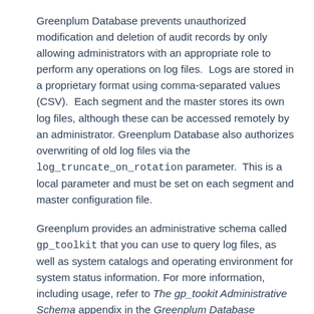Greenplum Database prevents unauthorized modification and deletion of audit records by only allowing administrators with an appropriate role to perform any operations on log files.  Logs are stored in a proprietary format using comma-separated values (CSV).  Each segment and the master stores its own log files, although these can be accessed remotely by an administrator. Greenplum Database also authorizes overwriting of old log files via the log_truncate_on_rotation parameter.  This is a local parameter and must be set on each segment and master configuration file.
Greenplum provides an administrative schema called gp_toolkit that you can use to query log files, as well as system catalogs and operating environment for system status information. For more information, including usage, refer to The gp_tookit Administrative Schema appendix in the Greenplum Database Reference Guide.